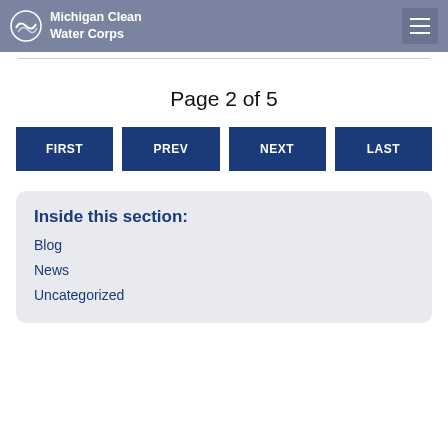Michigan Clean Water Corps
Page 2 of 5
FIRST  PREV  NEXT  LAST
Inside this section:
Blog
News
Uncategorized